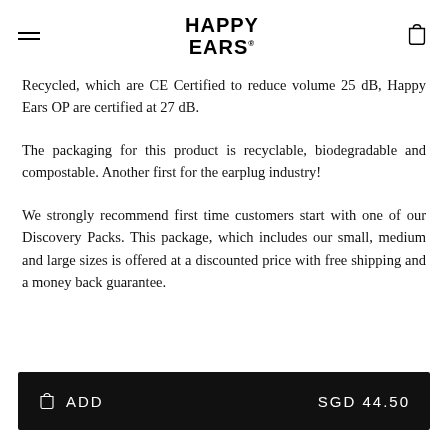HAPPY EARS
Recycled, which are CE Certified to reduce volume 25 dB, Happy Ears OP are certified at 27 dB.
The packaging for this product is recyclable, biodegradable and compostable. Another first for the earplug industry!
We strongly recommend first time customers start with one of our Discovery Packs. This package, which includes our small, medium and large sizes is offered at a discounted price with free shipping and a money back guarantee.
ADD   SGD 44.50